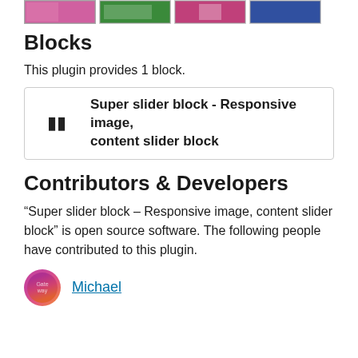[Figure (screenshot): Row of four thumbnail screenshots at the top of the page]
Blocks
This plugin provides 1 block.
Super slider block - Responsive image, content slider block
Contributors & Developers
“Super slider block – Responsive image, content slider block” is open source software. The following people have contributed to this plugin.
Michael